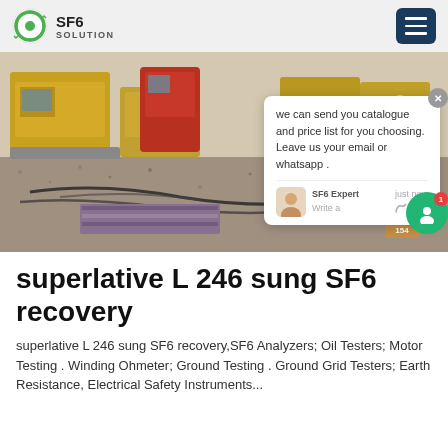SF6 SOLUTION
[Figure (photo): Outdoor industrial/construction site with yellow heavy machinery vehicles, cables on gravel ground, and a worker in the background under clear sky.]
superlative L 246 sung SF6 recovery
superlative L 246 sung SF6 recovery,SF6 Analyzers; Oil Testers; Motor Testing . Winding Ohmeter; Ground Testing . Ground Grid Testers; Earth Resistance, Electrical Safety Instruments...